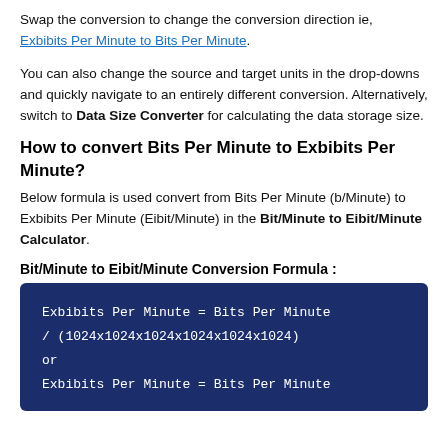Swap the conversion to change the conversion direction ie, Exbibits Per Minute to Bits Per Minute.
You can also change the source and target units in the drop-downs and quickly navigate to an entirely different conversion. Alternatively, switch to Data Size Converter for calculating the data storage size.
How to convert Bits Per Minute to Exbibits Per Minute?
Below formula is used convert from Bits Per Minute (b/Minute) to Exbibits Per Minute (Eibit/Minute) in the Bit/Minute to Eibit/Minute Calculator.
Bit/Minute to Eibit/Minute Conversion Formula :